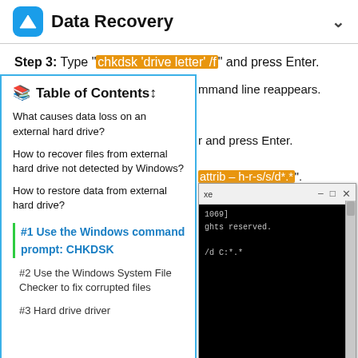Data Recovery
Step 3: Type "chkdsk 'drive letter' /f" and press Enter.
Table of Contents
What causes data loss on an external hard drive?
How to recover files from external hard drive not detected by Windows?
How to restore data from external hard drive?
#1 Use the Windows command prompt: CHKDSK
#2 Use the Windows System File Checker to fix corrupted files
#3 Hard drive driver
mmand line reappears.
r and press Enter.
attrib – h-r-s/s/d*.*".
[Figure (screenshot): Command prompt window showing text: 1069], ghts reserved., /d C:*.*]